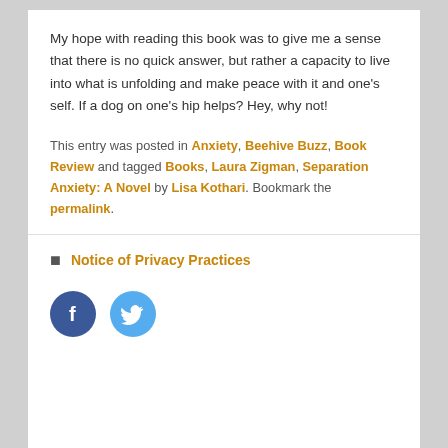My hope with reading this book was to give me a sense that there is no quick answer, but rather a capacity to live into what is unfolding and make peace with it and one's self. If a dog on one's hip helps? Hey, why not!
This entry was posted in Anxiety, Beehive Buzz, Book Review and tagged Books, Laura Zigman, Separation Anxiety: A Novel by Lisa Kothari. Bookmark the permalink.
Notice of Privacy Practices
[Figure (other): Facebook and Twitter social media icon circles (Facebook blue, Twitter light blue)]